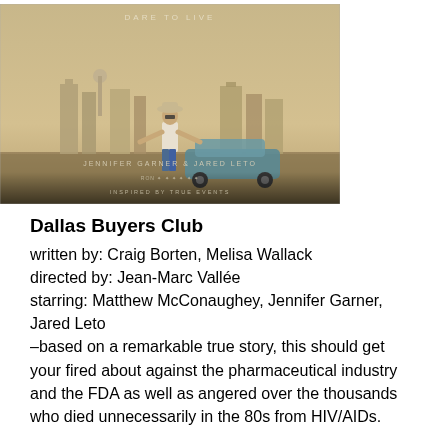[Figure (photo): Movie poster for Dallas Buyers Club showing a man in cowboy hat standing arms outstretched in front of a city skyline with text 'Dare to Live', 'Jennifer Garner & Jared Leto', 'Inspired by True Events']
Dallas Buyers Club
written by: Craig Borten, Melisa Wallack
directed by: Jean-Marc Vallée
starring: Matthew McConaughey, Jennifer Garner, Jared Leto
–based on a remarkable true story, this should get your fired about against the pharmaceutical industry and the FDA as well as angered over the thousands who died unnecessarily in the 80s from HIV/AIDs.